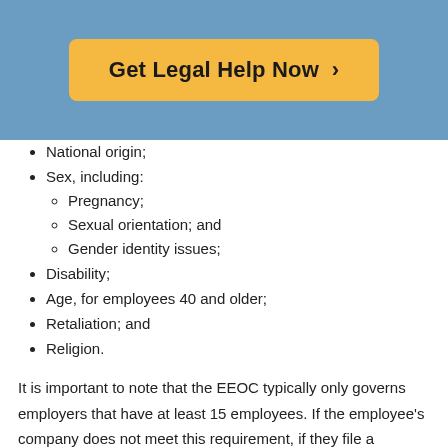[Figure (other): Orange 'Get Legal Help Now >' call-to-action button on blue background header]
National origin;
Sex, including:
Pregnancy;
Sexual orientation; and
Gender identity issues;
Disability;
Age, for employees 40 and older;
Retaliation; and
Religion.
It is important to note that the EEOC typically only governs employers that have at least 15 employees. If the employee's company does not meet this requirement, if they file a complaint with the EEOC, it will most likely be dismissed.
An individual is required to file their claim of discrimination with the EEOC, usually at the nearest